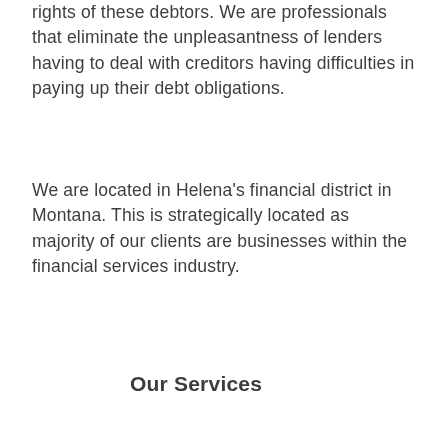rights of these debtors. We are professionals that eliminate the unpleasantness of lenders having to deal with creditors having difficulties in paying up their debt obligations.
We are located in Helena's financial district in Montana. This is strategically located as majority of our clients are businesses within the financial services industry.
Our Services